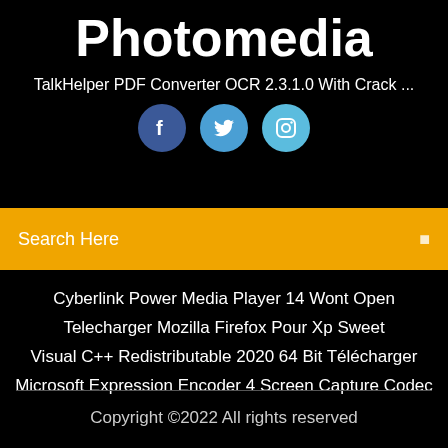Photomedia
TalkHelper PDF Converter OCR 2.3.1.0 With Crack ...
[Figure (illustration): Three social media icon circles: Facebook (dark blue), Twitter (medium blue), Instagram (light blue)]
Search Here
Cyberlink Power Media Player 14 Wont Open
Telecharger Mozilla Firefox Pour Xp Sweet
Visual C++ Redistributable 2020 64 Bit Télécharger
Microsoft Expression Encoder 4 Screen Capture Codec
Copyright ©2022 All rights reserved